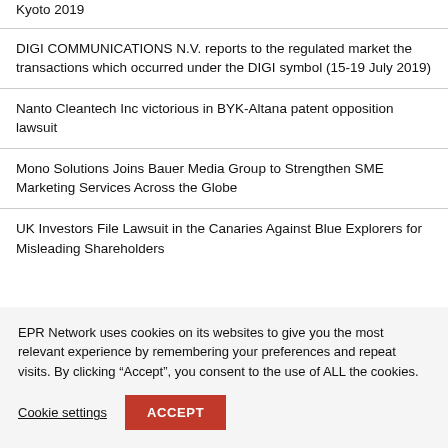Kyoto 2019
DIGI COMMUNICATIONS N.V. reports to the regulated market the transactions which occurred under the DIGI symbol (15-19 July 2019)
Nanto Cleantech Inc victorious in BYK-Altana patent opposition lawsuit
Mono Solutions Joins Bauer Media Group to Strengthen SME Marketing Services Across the Globe
UK Investors File Lawsuit in the Canaries Against Blue Explorers for Misleading Shareholders
EPR Network uses cookies on its websites to give you the most relevant experience by remembering your preferences and repeat visits. By clicking “Accept”, you consent to the use of ALL the cookies.